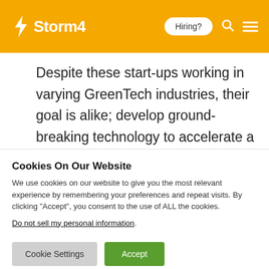Storm4 | Hiring?
Despite these start-ups working in varying GreenTech industries, their goal is alike; develop ground-breaking technology to accelerate a sustainable future. But this goal can
Cookies On Our Website
We use cookies on our website to give you the most relevant experience by remembering your preferences and repeat visits. By clicking “Accept”, you consent to the use of ALL the cookies.
Do not sell my personal information.
Cookie Settings | Accept